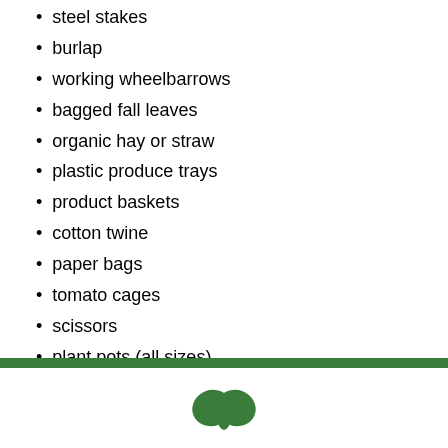steel stakes
burlap
working wheelbarrows
bagged fall leaves
organic hay or straw
plastic produce trays
product baskets
cotton twine
paper bags
tomato cages
scissors
plant pots (all sizes)
trellis
firewood
potting soil
[Figure (logo): Green plant/leaf logo at bottom center of page]